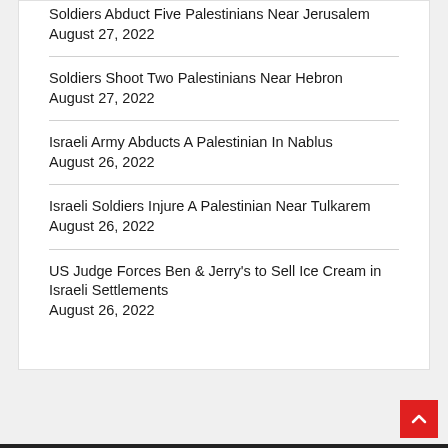Soldiers Abduct Five Palestinians Near Jerusalem August 27, 2022
Soldiers Shoot Two Palestinians Near Hebron August 27, 2022
Israeli Army Abducts A Palestinian In Nablus August 26, 2022
Israeli Soldiers Injure A Palestinian Near Tulkarem August 26, 2022
US Judge Forces Ben & Jerry's to Sell Ice Cream in Israeli Settlements August 26, 2022